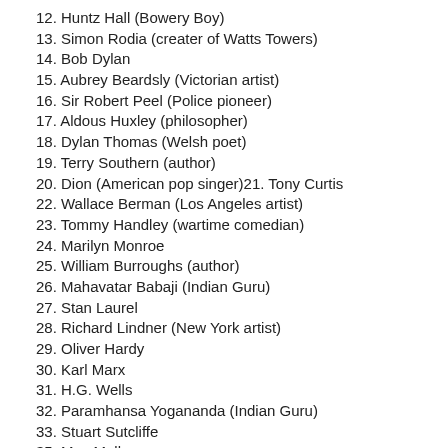12. Huntz Hall (Bowery Boy)
13. Simon Rodia (creater of Watts Towers)
14. Bob Dylan
15. Aubrey Beardsly (Victorian artist)
16. Sir Robert Peel (Police pioneer)
17. Aldous Huxley (philosopher)
18. Dylan Thomas (Welsh poet)
19. Terry Southern (author)
20. Dion (American pop singer)21. Tony Curtis
22. Wallace Berman (Los Angeles artist)
23. Tommy Handley (wartime comedian)
24. Marilyn Monroe
25. William Burroughs (author)
26. Mahavatar Babaji (Indian Guru)
27. Stan Laurel
28. Richard Lindner (New York artist)
29. Oliver Hardy
30. Karl Marx
31. H.G. Wells
32. Paramhansa Yogananda (Indian Guru)
33. Stuart Sutcliffe
35. Max Muller